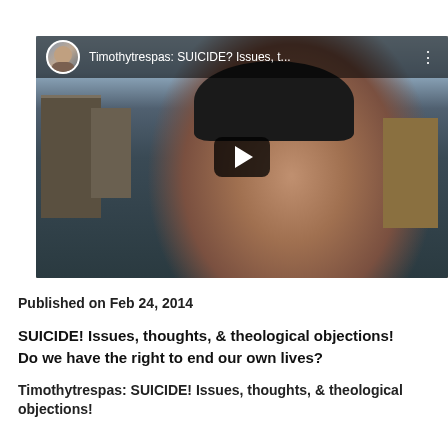[Figure (screenshot): YouTube video thumbnail showing a man in a black beanie hat outdoors with buildings in the background. The video player top bar shows a channel avatar and the title 'Timothytrespas: SUICIDE? Issues, t...' with a three-dot menu. A play button is centered on the thumbnail.]
Published on Feb 24, 2014
SUICIDE! Issues, thoughts, & theological objections! Do we have the right to end our own lives?
Timothytrespas: SUICIDE! Issues, thoughts, & theological objections!